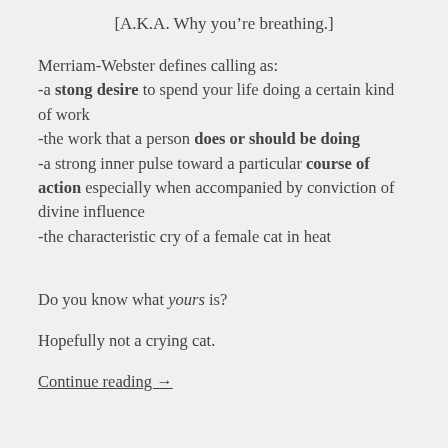[A.K.A. Why you're breathing.]
Merriam-Webster defines calling as:
-a stong desire to spend your life doing a certain kind of work
-the work that a person does or should be doing
-a strong inner pulse toward a particular course of action especially when accompanied by conviction of divine influence
-the characteristic cry of a female cat in heat
Do you know what yours is?
Hopefully not a crying cat.
Continue reading →